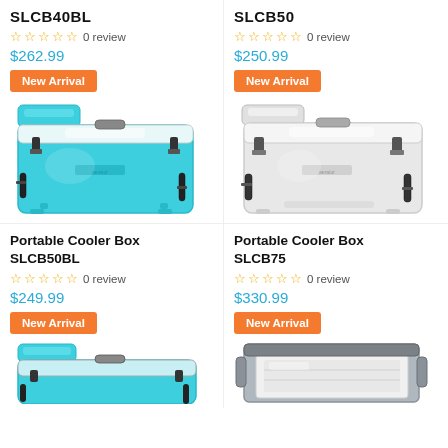SLCB40BL
0 review
$262.99
[Figure (photo): Teal portable cooler box with New Arrival badge]
SLCB50
0 review
$250.99
[Figure (photo): White portable cooler box with New Arrival badge]
Portable Cooler Box SLCB50BL
0 review
$249.99
[Figure (photo): Teal portable cooler box with New Arrival badge, partial view]
Portable Cooler Box SLCB75
0 review
$330.99
[Figure (photo): Gray/white portable cooler box with New Arrival badge, partial view]